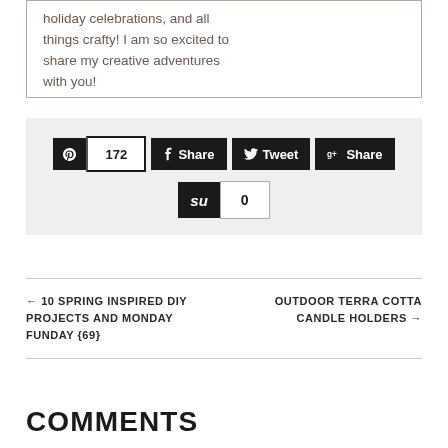holiday celebrations, and all things crafty! I am so excited to share my creative adventures with you!
[Figure (infographic): Social sharing bar with Pinterest (172), Facebook Share, Twitter Tweet, Google+ Share buttons, and StumbleUpon (0) button]
← 10 SPRING INSPIRED DIY PROJECTS AND MONDAY FUNDAY {69}
OUTDOOR TERRA COTTA CANDLE HOLDERS →
COMMENTS